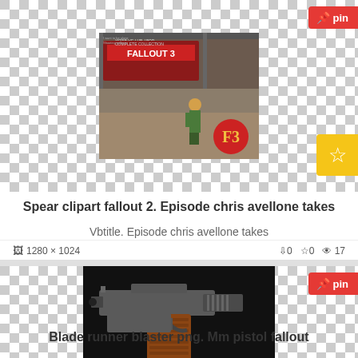[Figure (screenshot): Fallout 3 game screenshot with character and F3 logo]
Spear clipart fallout 2. Episode chris avellone takes
Vbtitle. Episode chris avellone takes
1280 x 1024  ↓0  ☆0  👁 17
[Figure (screenshot): Blade runner blaster pistol / mm pistol fallout, metal gun with wood grip on black background]
Blade runner blaster png. Mm pistol fallout